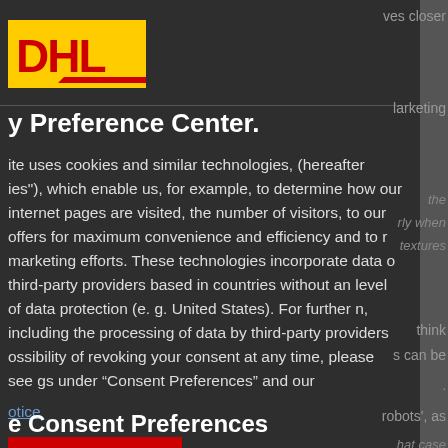[Figure (logo): DHL logo — red and yellow brand mark on dark background]
y Preference Center.
ite uses cookies and similar technologies, (hereafter ies"), which enable us, for example, to determine how our internet pages are visited, the number of visitors, to our offers for maximum convenience and efficiency and to r marketing efforts. These technologies incorporate data o third-party providers based in countries without an level of data protection (e. g. United States). For further n, including the processing of data by third-party providers ossibility of revoking your consent at any time, please see gs under “Consent Preferences” and our
otice
ept All
e Consent Preferences